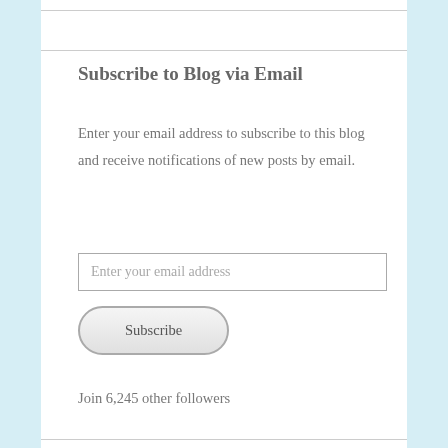Subscribe to Blog via Email
Enter your email address to subscribe to this blog and receive notifications of new posts by email.
Enter your email address
Subscribe
Join 6,245 other followers